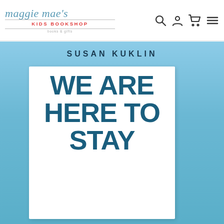[Figure (logo): Maggie Mae's Kids Bookshop logo with teal cursive text and red uppercase subtitle]
[Figure (screenshot): Book cover of 'We Are Here to Stay' by Susan Kuklin on a light blue background, showing large teal hand-lettered title on a white card held by a hand, with author name in dark uppercase at top]